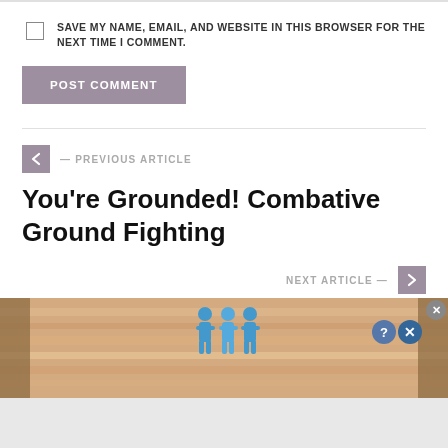SAVE MY NAME, EMAIL, AND WEBSITE IN THIS BROWSER FOR THE NEXT TIME I COMMENT.
POST COMMENT
— PREVIOUS ARTICLE
You're Grounded! Combative Ground Fighting
NEXT ARTICLE —
[Figure (screenshot): Advertisement banner showing blue figures and text 'Hold and Move' on a wooden-look background with close/question buttons]